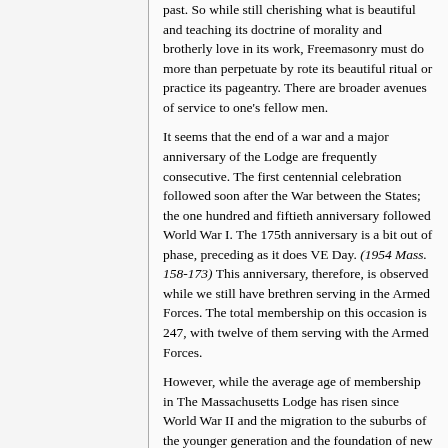past. So while still cherishing what is beautiful and teaching its doctrine of morality and brotherly love in its work, Freemasonry must do more than perpetuate by rote its beautiful ritual or practice its pageantry. There are broader avenues of service to one's fellow men.
It seems that the end of a war and a major anniversary of the Lodge are frequently consecutive. The first centennial celebration followed soon after the War between the States; the one hundred and fiftieth anniversary followed World War I. The 175th anniversary is a bit out of phase, preceding as it does VE Day. (1954 Mass. 158-173) This anniversary, therefore, is observed while we still have brethren serving in the Armed Forces. The total membership on this occasion is 247, with twelve of them serving with the Armed Forces.
However, while the average age of membership in The Massachusetts Lodge has risen since World War II and the migration to the suburbs of the younger generation and the foundation of new Lodges in those places has had the effect of reducing the size of The...